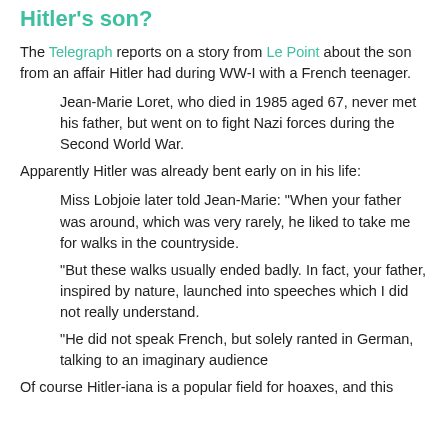Hitler's son?
The Telegraph reports on a story from Le Point about the son from an affair Hitler had during WW-I with a French teenager.
Jean-Marie Loret, who died in 1985 aged 67, never met his father, but went on to fight Nazi forces during the Second World War.
Apparently Hitler was already bent early on in his life:
Miss Lobjoie later told Jean-Marie: "When your father was around, which was very rarely, he liked to take me for walks in the countryside.
"But these walks usually ended badly. In fact, your father, inspired by nature, launched into speeches which I did not really understand.
"He did not speak French, but solely ranted in German, talking to an imaginary audience
Of course Hitler-iana is a popular field for hoaxes, and this